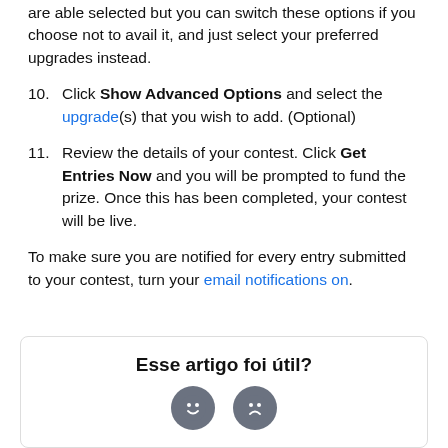are able selected but you can switch these options if you choose not to avail it, and just select your preferred upgrades instead.
10. Click Show Advanced Options and select the upgrade(s) that you wish to add. (Optional)
11. Review the details of your contest. Click Get Entries Now and you will be prompted to fund the prize. Once this has been completed, your contest will be live.
To make sure you are notified for every entry submitted to your contest, turn your email notifications on.
Esse artigo foi útil?